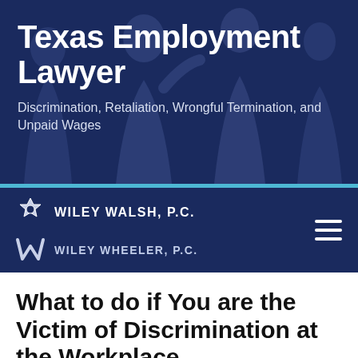[Figure (photo): Dark navy blue banner with silhouettes of people in a workplace/office setting, used as background for law firm hero section]
Texas Employment Lawyer
Discrimination, Retaliation, Wrongful Termination, and Unpaid Wages
[Figure (logo): Wiley Walsh, P.C. and Wiley Wheeler, P.C. law firm logos in white on dark navy background, with hamburger menu icon on right]
What to do if You are the Victim of Discrimination at the Workplace